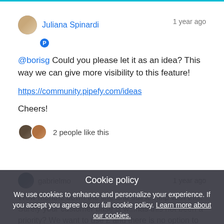Juliana Spinardi  1 year ago
@borisg Could you please let it as an idea? This way we can give more visibility to this feature!
https://community.pipefy.com/ideas
Cheers!
2 people like this
Cookie policy
We use cookies to enhance and personalize your experience. If you accept you agree to our full cookie policy. Learn more about our cookies.
Accept cookies
Deny all
Cookie settings
gabrielmo  1 year ago
Wow months down the line and still to help with this. Surely your customer base is w... has this not been a priority? We want to use £ and there is no option to change -